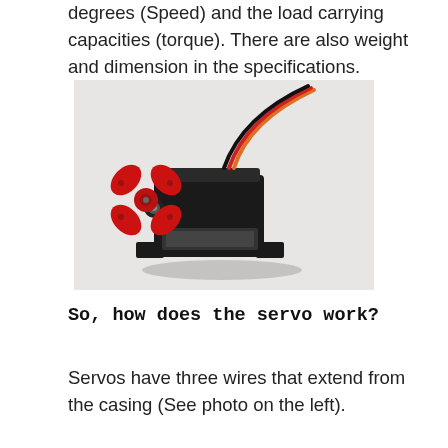degrees (Speed) and the load carrying capacities (torque). There are also weight and dimension in the specifications.
[Figure (photo): A small servo motor with a black rectangular casing, a red X-shaped horn/arm attached to the output shaft, and three wires (black, red, orange) extending from the top.]
So, how does the servo work?
Servos have three wires that extend from the casing (See photo on the left).